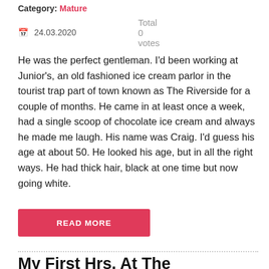Category: Mature
24.03.2020   Total 0 votes
He was the perfect gentleman. I'd been working at Junior's, an old fashioned ice cream parlor in the tourist trap part of town known as The Riverside for a couple of months. He came in at least once a week, had a single scoop of chocolate ice cream and always he made me laugh. His name was Craig. I'd guess his age at about 50. He looked his age, but in all the right ways. He had thick hair, black at one time but now going white.
READ MORE
My First Hrs. At The Awakening